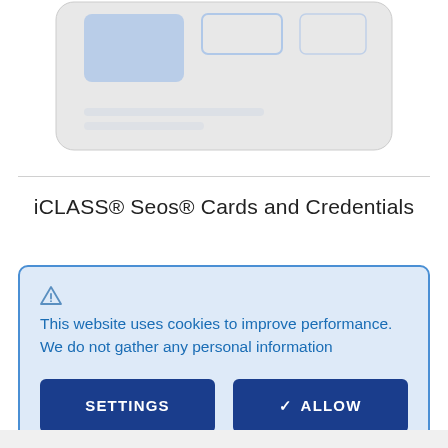[Figure (screenshot): Partial screenshot of a credit card or access card graphic with rounded rectangle shapes in light blue and gray tones]
iCLASS® Seos® Cards and Credentials
[Figure (screenshot): Cookie consent banner with warning triangle icon, text about cookies, and two buttons: SETTINGS and ALLOW]